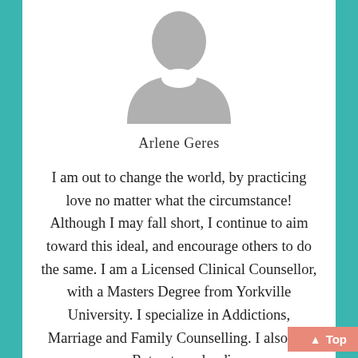[Figure (illustration): Generic grey avatar/profile silhouette icon showing a person's head and shoulders]
Arlene Geres
I am out to change the world, by practicing love no matter what the circumstance! Although I may fall short, I continue to aim toward this ideal, and encourage others to do the same. I am a Licensed Clinical Counsellor, with a Masters Degree from Yorkville University. I specialize in Addictions, Marriage and Family Counselling. I also put on Retreats and online courses in these areas. I look forward t